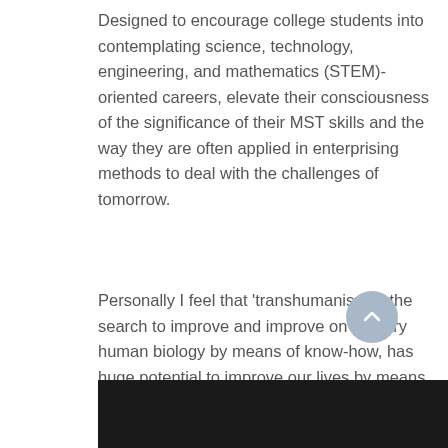Designed to encourage college students into contemplating science, technology, engineering, and mathematics (STEM)-oriented careers, elevate their consciousness of the significance of their MST skills and the way they are often applied in enterprising methods to deal with the challenges of tomorrow.
Personally I feel that ‘transhumanism’ – the search to improve and improve on primary human biology by means of know-how, has huge potential to improve our lives by means of rising life spans, rising intelligence, our bodily abilities and way more.
[Figure (photo): Dark/black image or video thumbnail at the bottom of the page]